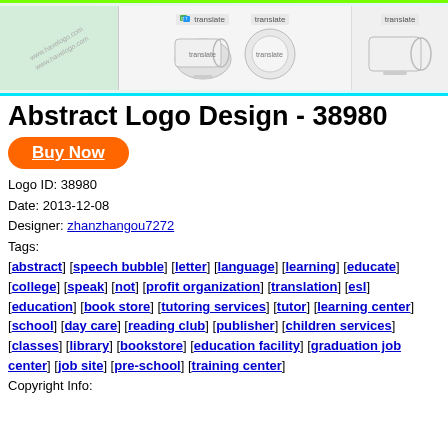[Figure (photo): Banner image with logo/mug merchandise showing 'translate' branding, green and cyan border]
Abstract Logo Design - 38980
Buy Now
Logo ID: 38980
Date: 2013-12-08
Designer: zhanzhangou7272
Tags:
[abstract] [speech bubble] [letter] [language] [learning] [educate] [college] [speak] [not] [profit organization] [translation] [esl] [education] [book store] [tutoring services] [tutor] [learning center] [school] [day care] [reading club] [publisher] [children services] [classes] [library] [bookstore] [education facility] [graduation job center] [job site] [pre-school] [training center]
Copyright Info: